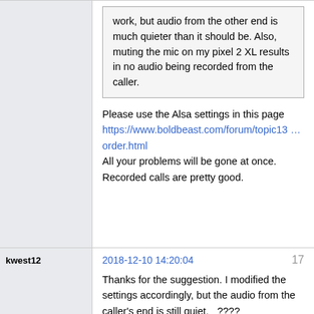work, but audio from the other end is much quieter than it should be. Also, muting the mic on my pixel 2 XL results in no audio being recorded from the caller.
Please use the Alsa settings in this page https://www.boldbeast.com/forum/topic13 … order.html All your problems will be gone at once. Recorded calls are pretty good.
kwest12
2018-12-10 14:20:04
17
Thanks for the suggestion. I modified the settings accordingly, but the audio from the caller's end is still quiet.   ????
boldbeast
2018-12-11 16:26:55
18